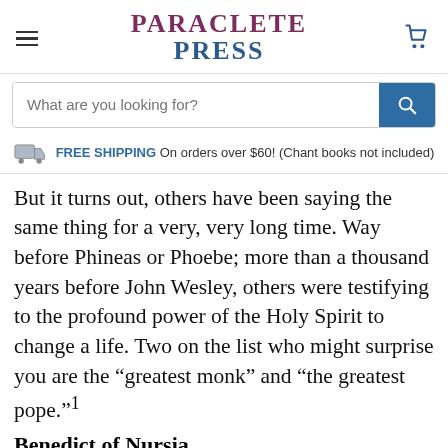PARACLETE PRESS
What are you looking for?
FREE SHIPPING On orders over $60! (Chant books not included)
But it turns out, others have been saying the same thing for a very, very long time. Way before Phineas or Phoebe; more than a thousand years before John Wesley, others were testifying to the profound power of the Holy Spirit to change a life. Two on the list who might surprise you are the “greatest monk” and “the greatest pope.”1
Benedict of Nursia